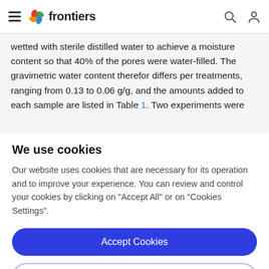frontiers
wetted with sterile distilled water to achieve a moisture content so that 40% of the pores were water-filled. The gravimetric water content therefor differs per treatments, ranging from 0.13 to 0.06 g/g, and the amounts added to each sample are listed in Table 1. Two experiments were
We use cookies
Our website uses cookies that are necessary for its operation and to improve your experience. You can review and control your cookies by clicking on "Accept All" or on "Cookies Settings".
Accept Cookies
Cookies Settings